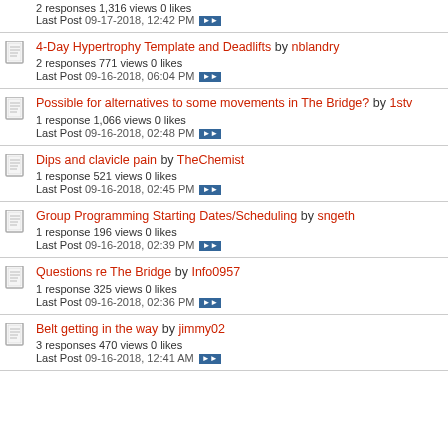2 responses 1,316 views 0 likes
Last Post 09-17-2018, 12:42 PM
4-Day Hypertrophy Template and Deadlifts by nblandry
2 responses 771 views 0 likes
Last Post 09-16-2018, 06:04 PM
Possible for alternatives to some movements in The Bridge? by 1stv
1 response 1,066 views 0 likes
Last Post 09-16-2018, 02:48 PM
Dips and clavicle pain by TheChemist
1 response 521 views 0 likes
Last Post 09-16-2018, 02:45 PM
Group Programming Starting Dates/Scheduling by sngeth
1 response 196 views 0 likes
Last Post 09-16-2018, 02:39 PM
Questions re The Bridge by Info0957
1 response 325 views 0 likes
Last Post 09-16-2018, 02:36 PM
Belt getting in the way by jimmy02
3 responses 470 views 0 likes
Last Post 09-16-2018, 12:41 AM